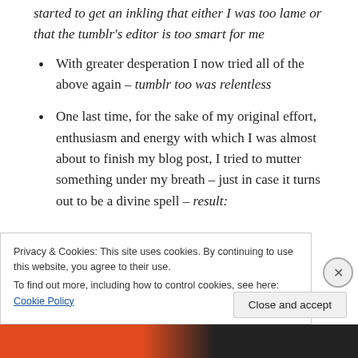started to get an inkling that either I was too lame or that the tumblr's editor is too smart for me
With greater desperation I now tried all of the above again – tumblr too was relentless
One last time, for the sake of my original effort, enthusiasm and energy with which I was almost about to finish my blog post, I tried to mutter something under my breath – just in case it turns out to be a divine spell – result:
Privacy & Cookies: This site uses cookies. By continuing to use this website, you agree to their use. To find out more, including how to control cookies, see here: Cookie Policy
Close and accept